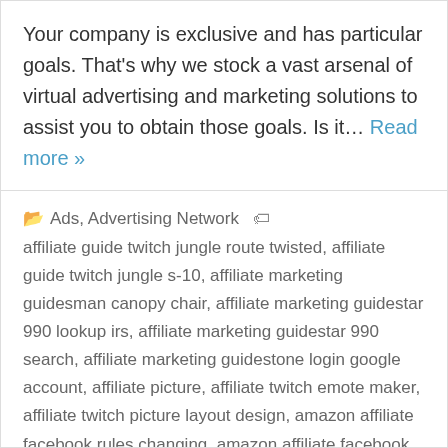Your company is exclusive and has particular goals. That's why we stock a vast arsenal of virtual advertising and marketing solutions to assist you to obtain those goals. Is it… Read more »
📁 Ads, Advertising Network 🏷 affiliate guide twitch jungle route twisted, affiliate guide twitch jungle s-10, affiliate marketing guidesman canopy chair, affiliate marketing guidestar 990 lookup irs, affiliate marketing guidestar 990 search, affiliate marketing guidestone login google account, affiliate picture, affiliate twitch emote maker, affiliate twitch picture layout design, amazon affiliate facebook rules changing, amazon affiliate facebook rules for giveaways, pinterest affiliate marketing guidelines cmsa south, twitch affiliate rules compliance